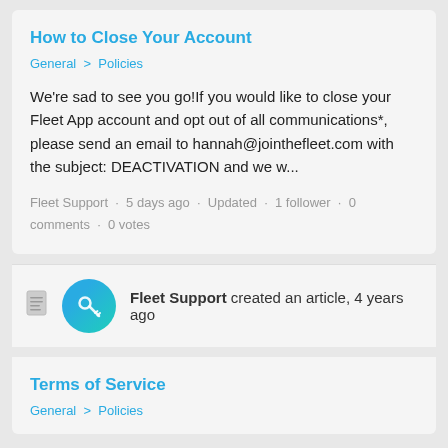How to Close Your Account
General  >  Policies
We're sad to see you go!If you would like to close your Fleet App account and opt out of all communications*, please send an email to hannah@jointhefleet.com with the subject: DEACTIVATION and we w...
Fleet Support ·  5 days ago  ·  Updated  ·  1 follower  ·  0 comments  ·  0 votes
[Figure (illustration): Document icon and teal circular avatar with key icon, followed by activity text]
Fleet Support created an article, 4 years ago
Terms of Service
General  >  Policies